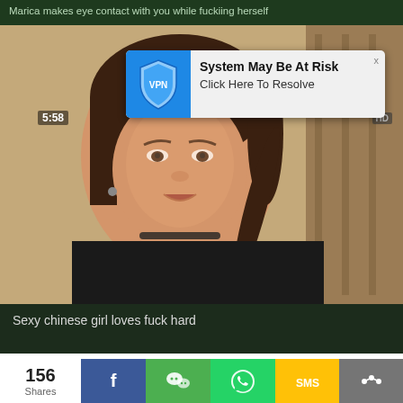Marica makes eye contact with you while fuckiing herself
[Figure (screenshot): VPN security popup notification overlay on video player reading 'System May Be At Risk - Click Here To Resolve' with a blue VPN shield icon]
[Figure (photo): Screenshot of a video player showing a young Asian woman in a black top looking at the camera with mouth slightly open, timestamp 5:58 visible, HD badge in corner]
Sexy chinese girl loves fuck hard
156 Shares